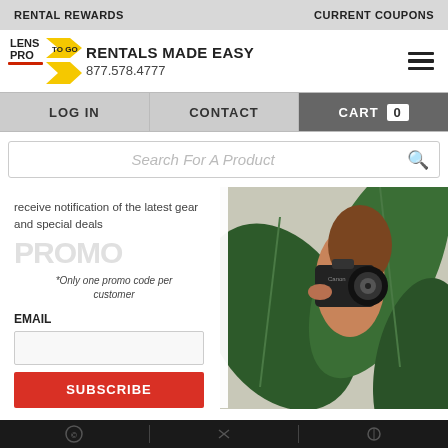RENTAL REWARDS    CURRENT COUPONS
[Figure (logo): Lens Pro To Go logo with yellow arrow shapes and red/black text]
RENTALS MADE EASY
877.578.4777
LOG IN
CONTACT
CART 0
Search For A Product
receive notification of the latest gear and special deals
*Only one promo code per customer
EMAIL
[Figure (photo): Woman holding a Canon DSLR camera up to her face, partially hidden behind large tropical plant leaves]
SUBSCRIBE